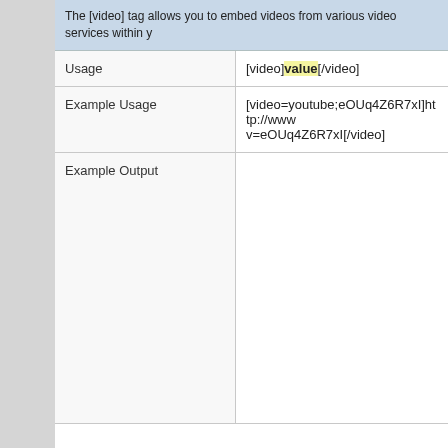The [video] tag allows you to embed videos from various video services within y
|  |  |
| --- | --- |
| Usage | [video]value[/video] |
| Example Usage | [video=youtube;eOUq4Z6R7xI]http://www v=eOUq4Z6R7xI[/video] |
| Example Output |  |